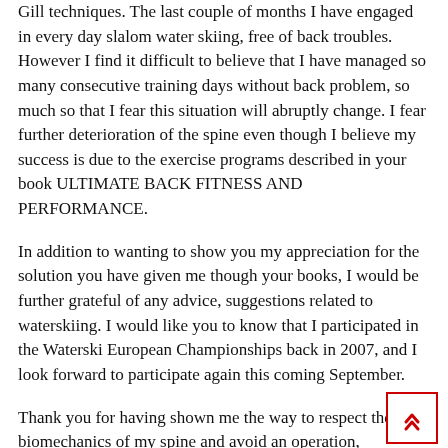Gill techniques. The last couple of months I have engaged in every day slalom water skiing, free of back troubles. However I find it difficult to believe that I have managed so many consecutive training days without back problem, so much so that I fear this situation will abruptly change. I fear further deterioration of the spine even though I believe my success is due to the exercise programs described in your book ULTIMATE BACK FITNESS AND PERFORMANCE.
In addition to wanting to show you my appreciation for the solution you have given me though your books, I would be further grateful of any advice, suggestions related to waterskiing. I would like you to know that I participated in the Waterski European Championships back in 2007, and I look forward to participate again this coming September.
Thank you for having shown me the way to respect the biomechanics of my spine and avoid an operation,